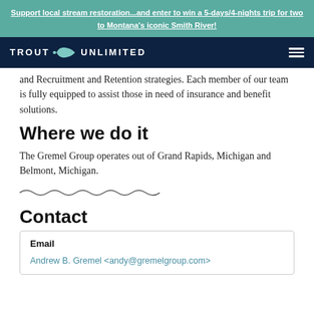Support local stream restoration...and enter to win a 5-days/4-nights trip for two to Montana's iconic Smith River!
[Figure (logo): Trout Unlimited logo with fish icon and navigation hamburger menu on dark navy background]
and Recruitment and Retention strategies. Each member of our team is fully equipped to assist those in need of insurance and benefit solutions.
Where we do it
The Gremel Group operates out of Grand Rapids, Michigan and Belmont, Michigan.
[Figure (illustration): Decorative wave/water divider line]
Contact
| Email |
| --- |
| Andrew B. Gremel <andy@gremelgroup.com> |